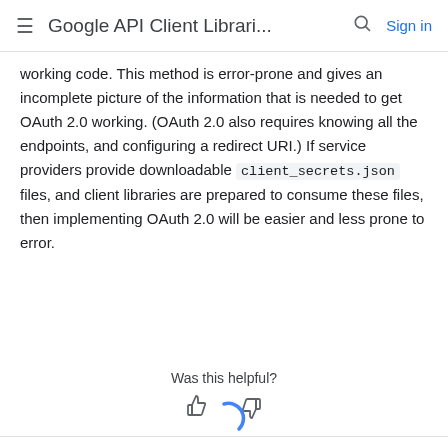≡ Google API Client Librari... 🔍 Sign in
working code. This method is error-prone and gives an incomplete picture of the information that is needed to get OAuth 2.0 working. (OAuth 2.0 also requires knowing all the endpoints, and configuring a redirect URI.) If service providers provide downloadable client_secrets.json files, and client libraries are prepared to consume these files, then implementing OAuth 2.0 will be easier and less prone to error.
Was this helpful?
[Figure (other): Thumbs up and thumbs down feedback icons]
[Figure (other): Loading spinner arc in blue]